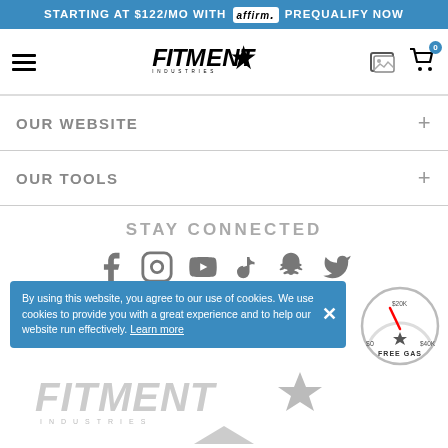STARTING AT $122/MO WITH affirm. PREQUALIFY NOW
[Figure (logo): Fitment Industries logo with star]
OUR WEBSITE +
OUR TOOLS +
STAY CONNECTED
[Figure (infographic): Social media icons: Facebook, Instagram, YouTube, TikTok, Snapchat, Twitter]
By using this website, you agree to our use of cookies. We use cookies to provide you with a great experience and to help our website run effectively. Learn more
[Figure (logo): Fitment Industries bottom logo in gray]
[Figure (infographic): Free Gas gauge showing $0, $20K, $40K with needle pointing to around $20K, labeled FREE GAS]